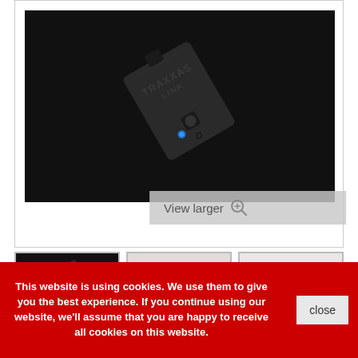[Figure (photo): Traxxas Link Bluetooth Wireless Module shown on dark background, a dark rectangular device with Traxxas Link logo embossed, blue LED indicator, viewed at an angle]
View larger
[Figure (photo): Thumbnail image 1: Traxxas Link module on dark background]
[Figure (photo): Thumbnail image 2: Traxxas Link module accessory on light background]
This website is using cookies. We use them to give you the best experience. If you continue using our website, we'll assume that you are happy to receive all cookies on this website.
close
Traxxas Link Bluetooth Wireless Module TQI